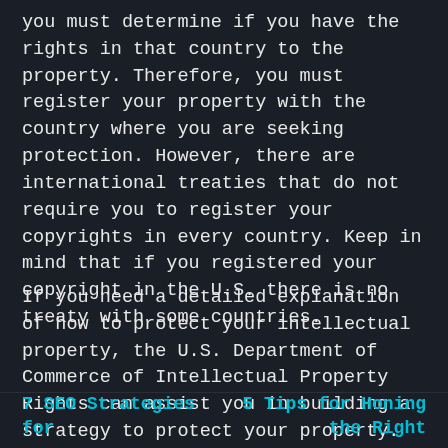you must determine if you have the rights in that country to the property. Therefore, you must register your property with the country where you are seeking protection. However, there are international treaties that do not require you to register your copyrights in every country. Keep in mind that if you registered your copyright in the U.S. there is no treaty with some countries.
If you need a detailed explanation of how to protect your intellectual property, the U.S. Department of Commerce of Intellectual Property Rights can assist you in building a strategy to protect your property. The agency can also help you develop a strategy to protect your property in other countries.
7 SEO Strategies for ... | 5 Tips for Honing the Right ...